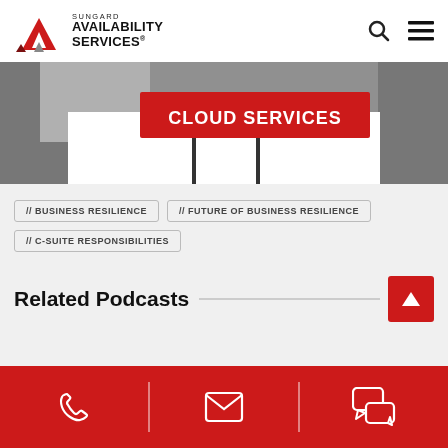[Figure (logo): Sungard Availability Services logo with red geometric arrow icon and company name]
[Figure (screenshot): Hero banner with dark gray background showing a red button labeled CLOUD SERVICES and white panel below]
// BUSINESS RESILIENCE
// FUTURE OF BUSINESS RESILIENCE
// C-SUITE RESPONSIBILITIES
Related Podcasts
[Figure (infographic): Footer with red background containing phone, email, and chat icons separated by vertical white dividers]